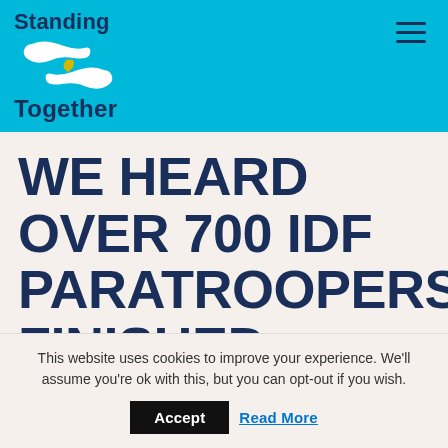Standing Together
WE HEARD OVER 700 IDF PARATROOPERS FINISHED TRAINING,
This website uses cookies to improve your experience. We'll assume you're ok with this, but you can opt-out if you wish.
Accept  Read More